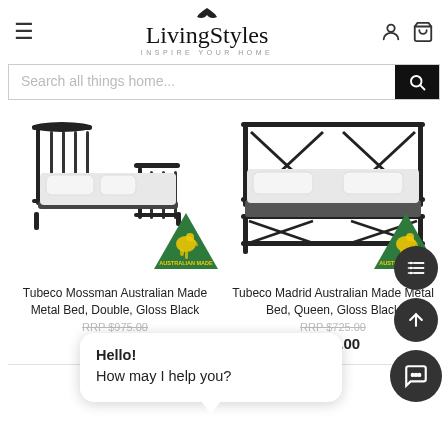LivingStyles — INSPIRE YOUR HOME
Search all things home...
[Figure (photo): Tubeco Mossman Australian Made Metal Bed, Double, Gloss Black — single bed with black metal frame, white bedding, with Australian Made badge]
Tubeco Mossman Australian Made Metal Bed, Double, Gloss Black
RRP $975.00
$605.00
[Figure (photo): Tubeco Madrid Australian Made Metal Bed, Queen, Gloss Black — queen bed with black metal X-frame, white bedding, with Australian Made badge]
Tubeco Madrid Australian Made Metal Bed, Queen, Gloss Black
RRP $725.00
$455.00
Hello!
How may I help you?